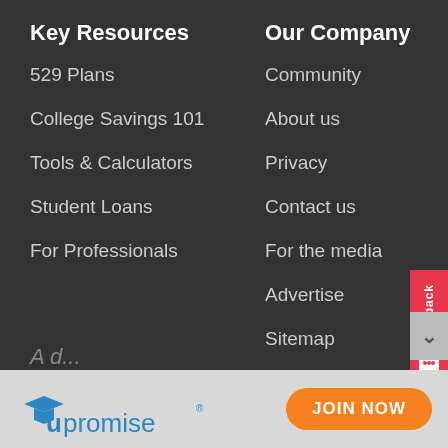Key Resources
529 Plans
College Savings 101
Tools & Calculators
Student Loans
For Professionals
Our Company
Community
About us
Privacy
Contact us
For the media
Advertise
Sitemap
[Figure (logo): Upromise logo with graduation cap icon in blue and yellow, text in blue]
JOIN NOW